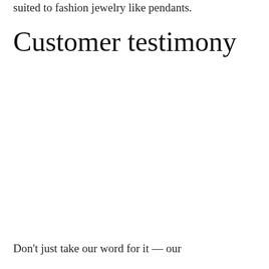suited to fashion jewelry like pendants.
Customer testimony
Don't just take our word for it — our